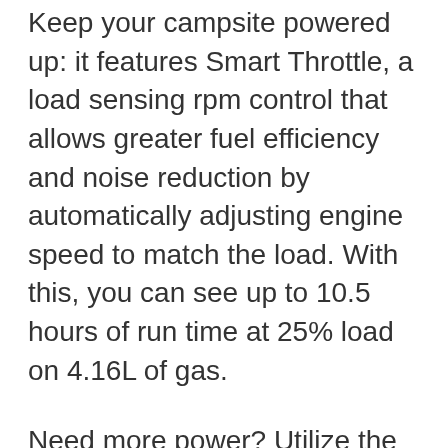Keep your campsite powered up: it features Smart Throttle, a load sensing rpm control that allows greater fuel efficiency and noise reduction by automatically adjusting engine speed to match the load. With this, you can see up to 10.5 hours of run time at 25% load on 4.16L of gas.
Need more power? Utilize the parallel features of this generator and hook up another EF2000iSv2 for up to 4000 rated